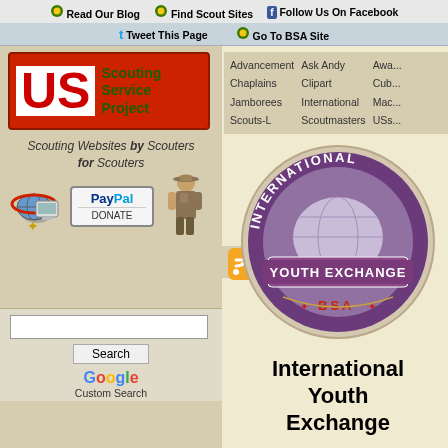Read Our Blog | Find Scout Sites | Follow Us On Facebook | Tweet This Page | Go To BSA Site
[Figure (logo): US Scouting Service Project logo - red box with US in white letters and green text reading Scouting Service Project]
Advancement Chaplains Jamborees Scouts-L Ask Andy Clipart International Scoutmasters
Scouting Websites by Scouters for Scouters
[Figure (illustration): Globe with red arrows icon, PayPal Donate button, and scout figure illustration]
[Figure (photo): International Youth Exchange BSA patch - circular purple patch with globe design]
International Youth Exchange
Search input box
Search
Google Custom Search